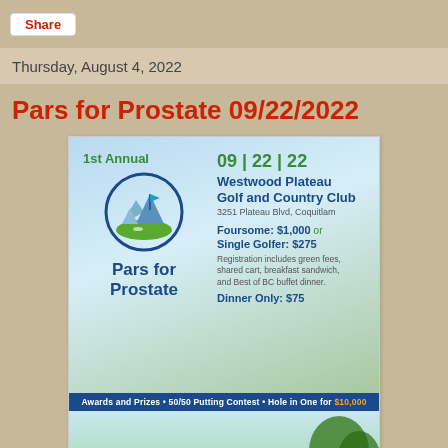Share
Thursday, August 4, 2022
Pars for Prostate 09/22/2022
[Figure (infographic): Pars for Prostate golf event flyer showing 1st Annual event on 09|22|22 at Westwood Plateau Golf and Country Club, 3251 Plateau Blvd, Coquitlam. Foursome: $1,000 or Single Golfer: $275. Registration includes green fees, shared cart, breakfast sandwich, and Best of BC buffet dinner. Dinner Only: $75. Awards and Prizes • 50/50 Putting Contest • Hole in One for $10,000. Bottom half shows a golf course photo with a white golf ball on green grass.]